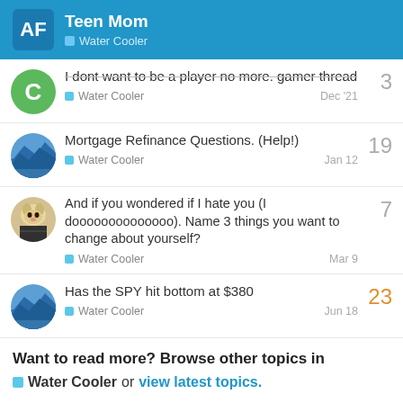Teen Mom — Water Cooler
I dont want to be a player no more. gamer thread | Water Cooler | Dec '21 | 3 replies
Mortgage Refinance Questions. (Help!) | Water Cooler | Jan 12 | 19 replies
And if you wondered if I hate you (I doooooooooooooo). Name 3 things you want to change about yourself? | Water Cooler | Mar 9 | 7 replies
Has the SPY hit bottom at $380 | Water Cooler | Jun 18 | 23 replies
Want to read more? Browse other topics in Water Cooler or view latest topics.